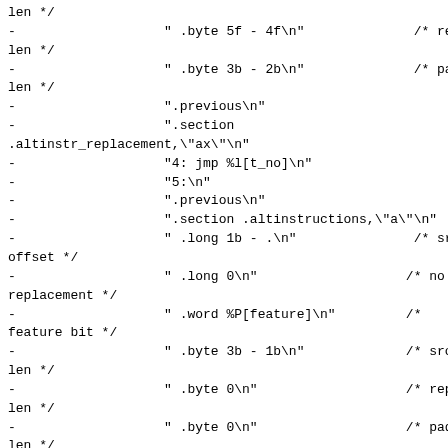len */
-                   " .byte 5f - 4f\n"              /* repl
len */
-                   " .byte 3b - 2b\n"              /* pad
len */
-                   ".previous\n"
-                   ".section
.altinstr_replacement,\"ax\"\n"
-                   "4: jmp %l[t_no]\n"
-                   "5:\n"
-                   ".previous\n"
-                   ".section .altinstructions,\"a\"\n"
-                   " .long 1b - .\n"               /* src
offset */
-                   " .long 0\n"                   /* no
replacement */
-                   " .word %P[feature]\n"         /*
feature bit */
-                   " .byte 3b - 1b\n"             /* src
len */
-                   " .byte 0\n"                   /* repl
len */
-                   " .byte 0\n"                   /* pad
len */
-                   ".previous\n"
-                   ".section .altinstr_aux,\"ax\"\n"
-                   "6:\n"
-                   " testb %[bitnum],%[cap_byte]\n"
-                   " jnz %l[t_yes]\n"
-                   " jmp %l[t_no]\n"